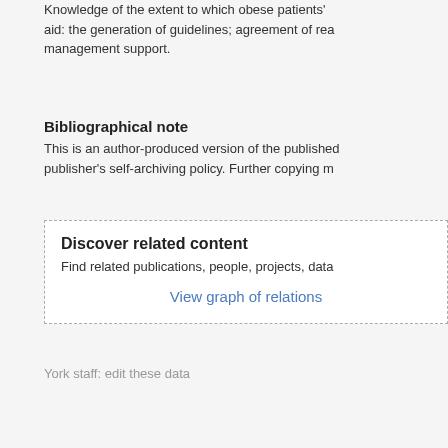Knowledge of the extent to which obese patients' aid: the generation of guidelines; agreement of rea management support.
Bibliographical note
This is an author-produced version of the published publisher's self-archiving policy. Further copying m
[Figure (other): Discover related content box with dashed border containing title 'Discover related content', text 'Find related publications, people, projects, data', and a link 'View graph of relations']
York staff: edit these data